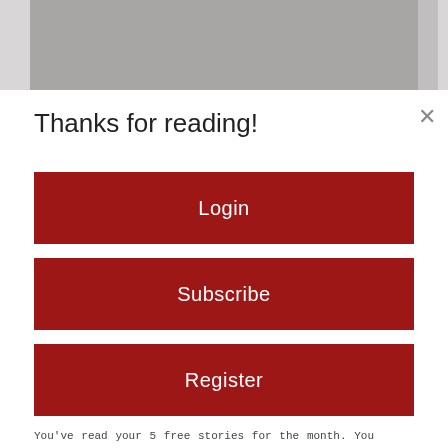[Figure (photo): Grayscale banner image at the top of a modal dialog, partially visible]
Thanks for reading!
Login
Subscribe
Register
You've read your 5 free stories for the month. You may register to receive five more free stories this month and ten stories each month going forward.